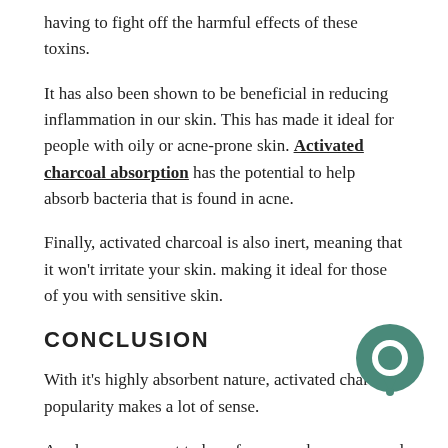having to fight off the harmful effects of these toxins.
It has also been shown to be beneficial in reducing inflammation in our skin. This has made it ideal for people with oily or acne-prone skin. Activated charcoal absorption has the potential to help absorb bacteria that is found in acne.
Finally, activated charcoal is also inert, meaning that it won't irritate your skin. making it ideal for those of you with sensitive skin.
CONCLUSION
With it's highly absorbent nature, activated charcoal popularity makes a lot of sense.
As always, we want to hear from you, have you used activated charcoal? what types of products do you use it in?